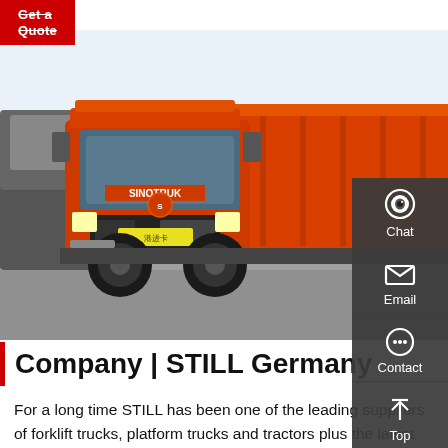Get a Quote
[Figure (photo): Large orange SINOTRUK dump truck parked in a lot with other trucks, photographed from front-left angle showing the cab and full dump bed body.]
[Figure (infographic): Dark sidebar with Chat, Email, Contact, and Top navigation icons on the right side of the page.]
Company | STILL Germany
For a long time STILL has been one of the leading suppliers of forklift trucks, platform trucks and tractors plus the latest Intralogistics systems. With more than 8,900 employees, 6 production plants, 14 branches in